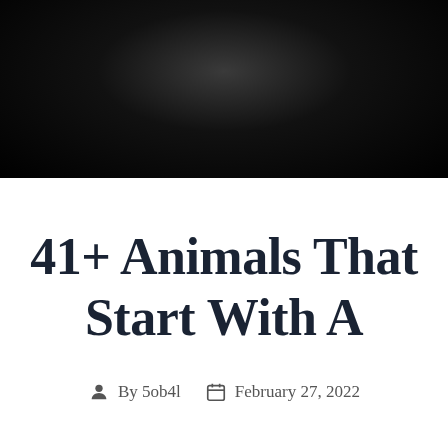[Figure (photo): Dark hero image banner with dark radial gradient, nearly black with slight lighter center]
41+ Animals That Start With A
By 5ob4l   February 27, 2022